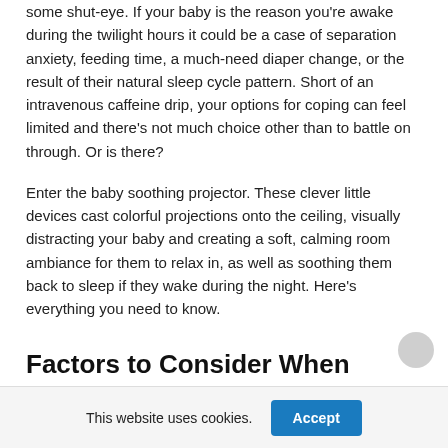some shut-eye. If your baby is the reason you're awake during the twilight hours it could be a case of separation anxiety, feeding time, a much-need diaper change, or the result of their natural sleep cycle pattern. Short of an intravenous caffeine drip, your options for coping can feel limited and there's not much choice other than to battle on through. Or is there?
Enter the baby soothing projector. These clever little devices cast colorful projections onto the ceiling, visually distracting your baby and creating a soft, calming room ambiance for them to relax in, as well as soothing them back to sleep if they wake during the night. Here's everything you need to know.
Factors to Consider When
This website uses cookies.